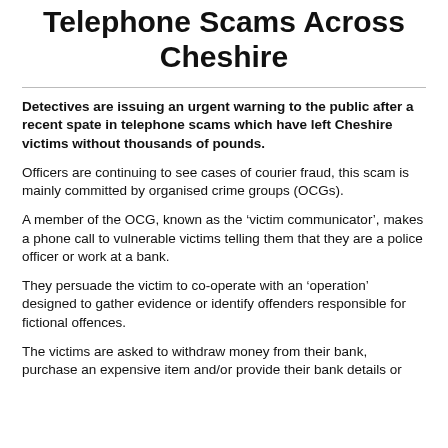Telephone Scams Across Cheshire
Detectives are issuing an urgent warning to the public after a recent spate in telephone scams which have left Cheshire victims without thousands of pounds.
Officers are continuing to see cases of courier fraud, this scam is mainly committed by organised crime groups (OCGs).
A member of the OCG, known as the ‘victim communicator’, makes a phone call to vulnerable victims telling them that they are a police officer or work at a bank.
They persuade the victim to co-operate with an ‘operation’ designed to gather evidence or identify offenders responsible for fictional offences.
The victims are asked to withdraw money from their bank, purchase an expensive item and/or provide their bank details or